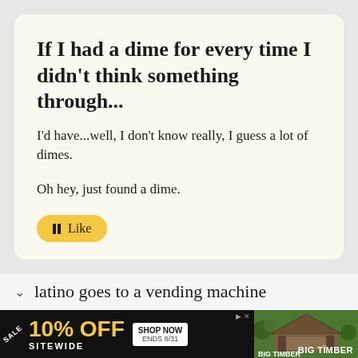If I had a dime for every time I didn't think something through...
I'd have...well, I don't know really, I guess a lot of dimes.
Oh hey, just found a dime.
🔲 Like
latino goes to a vending machine
[Figure (screenshot): Advertisement banner: SALE 10% OFF SITEWIDE SHOP NOW ENDS 8/31 BIG TIMBER with gazebo image]